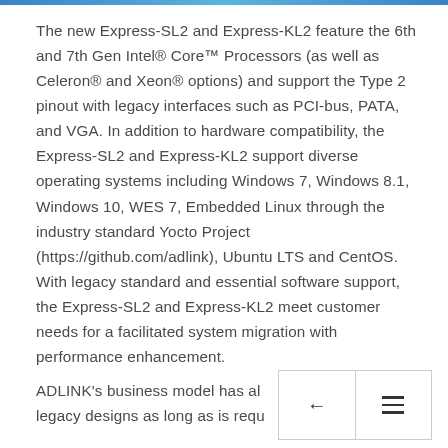The new Express-SL2 and Express-KL2 feature the 6th and 7th Gen Intel® Core™ Processors (as well as Celeron® and Xeon® options) and support the Type 2 pinout with legacy interfaces such as PCI-bus, PATA, and VGA. In addition to hardware compatibility, the Express-SL2 and Express-KL2 support diverse operating systems including Windows 7, Windows 8.1, Windows 10, WES 7, Embedded Linux through the industry standard Yocto Project (https://github.com/adlink), Ubuntu LTS and CentOS. With legacy standard and essential software support, the Express-SL2 and Express-KL2 meet customer needs for a facilitated system migration with performance enhancement.
ADLINK's business model has always included support legacy designs as long as is required by our customers.